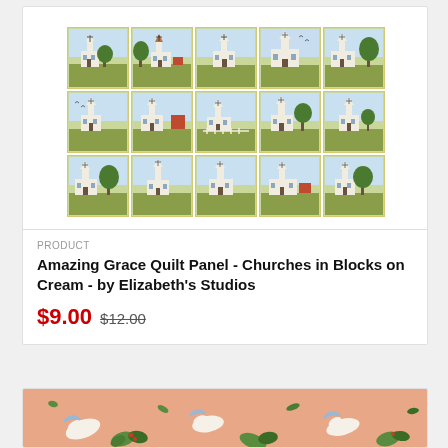[Figure (photo): Grid of 15 quilt panel blocks (5 columns x 3 rows), each showing a different church illustration on cream/green background — Amazing Grace Quilt Panel]
PRODUCT
Amazing Grace Quilt Panel - Churches in Blocks on Cream - by Elizabeth's Studios
$9.00 $12.00
[Figure (photo): Bottom portion of a fabric swatch showing white birds (doves/swans) with blue wing accents and green foliage on a peach/salmon pink background]